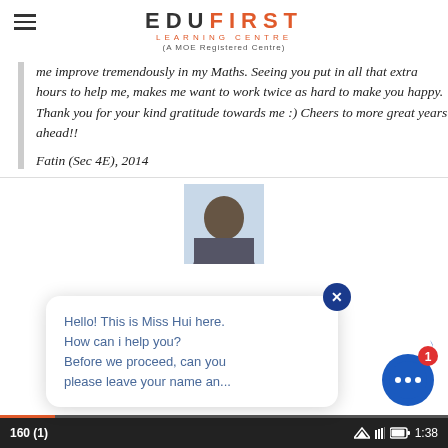EDUFIRST LEARNING CENTRE (A MOE Registered Centre)
me improve tremendously in my Maths. Seeing you put in all that extra hours to help me, makes me want to work twice as hard to make you happy. Thank you for your kind gratitude towards me :) Cheers to more great years ahead!!
Fatin (Sec 4E), 2014
[Figure (photo): Portrait photo of a person with short dark hair against a light background, partially visible in a chat widget interface]
Hello! This is Miss Hui here. How can i help you? Before we proceed, can you please leave your name an...
160 (1)  1:38